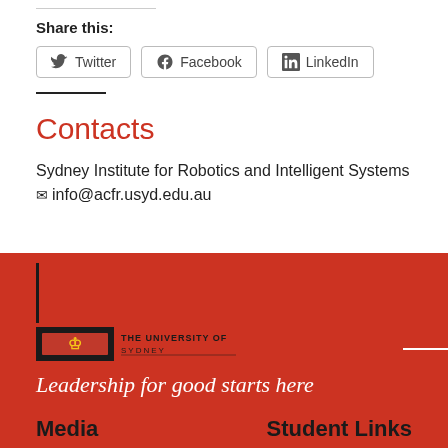Share this:
Twitter  Facebook  LinkedIn
Contacts
Sydney Institute for Robotics and Intelligent Systems
info@acfr.usyd.edu.au
[Figure (logo): The University of Sydney logo with lion emblem and text]
Leadership for good starts here
Media
Student Links